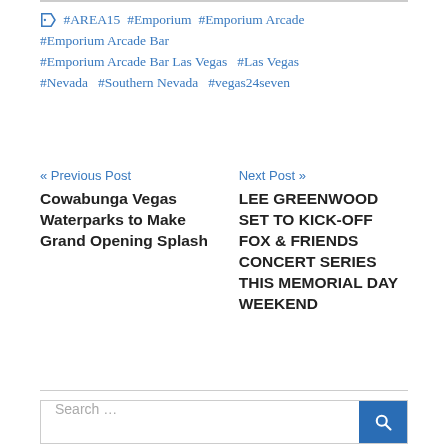🏷 #AREA15  #Emporium  #Emporium Arcade  #Emporium Arcade Bar  #Emporium Arcade Bar Las Vegas  #Las Vegas  #Nevada  #Southern Nevada  #vegas24seven
« Previous Post
Next Post »
Cowabunga Vegas Waterparks to Make Grand Opening Splash
LEE GREENWOOD SET TO KICK-OFF FOX & FRIENDS CONCERT SERIES THIS MEMORIAL DAY WEEKEND
Search …